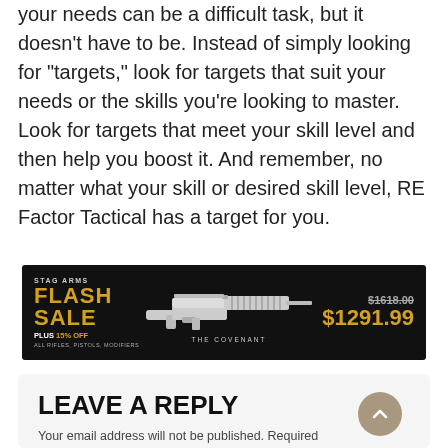your needs can be a difficult task, but it doesn't have to be. Instead of simply looking for “targets,” look for targets that suit your needs or the skills you’re looking to master. Look for targets that meet your skill level and then help you boost it. And remember, no matter what your skill or desired skill level, RE Factor Tactical has a target for you.
[Figure (other): Stag Arms Flash Sale advertisement banner. Black background with a rifle image (The Covenant). Shows price $1618.00 crossed out and $1291.99 in gold. Text: STAG ARMS, FLASH SALE, PLUS 15% OFF, ALL RIFLES, PISTOLS, MODIFIERS.]
LEAVE A REPLY
Your email address will not be published. Required